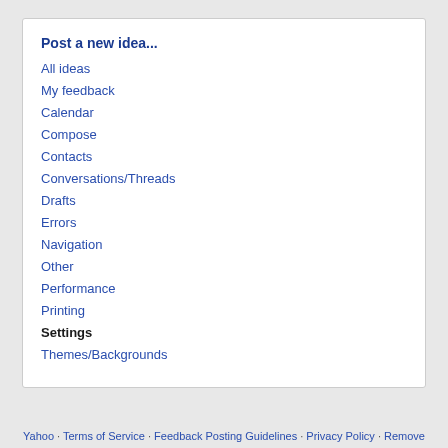Post a new idea...
All ideas
My feedback
Calendar
Compose
Contacts
Conversations/Threads
Drafts
Errors
Navigation
Other
Performance
Printing
Settings
Themes/Backgrounds
Yahoo · Terms of Service · Feedback Posting Guidelines · Privacy Policy · Remove